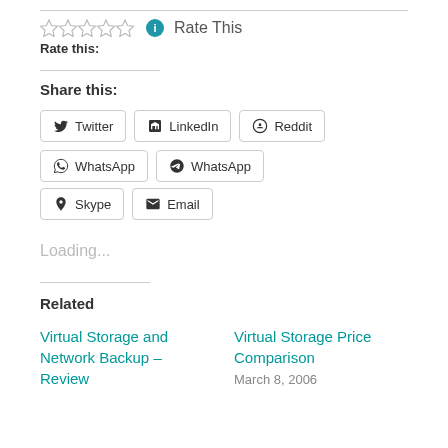Rate this: ☆☆☆☆☆ ℹ Rate This
Share this:
Twitter | LinkedIn | Reddit | WhatsApp | Skype | Email
Loading...
Related
Virtual Storage and Network Backup – Review
Virtual Storage Price Comparison
March 8, 2006